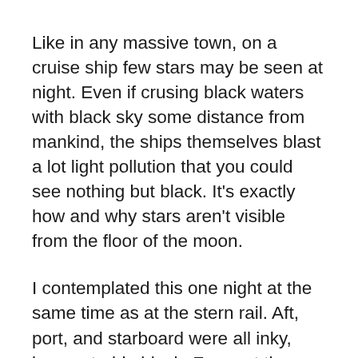Like in any massive town, on a cruise ship few stars may be seen at night. Even if crusing black waters with black sky some distance from mankind, the ships themselves blast a lot light pollution that you could see nothing but black. It’s exactly how and why stars aren’t visible from the floor of the moon.
I contemplated this one night at the same time as at the stern rail. Aft, port, and starboard were all inky, impenetrable black. Far past the bow, I knew, the orange glow of oil refineries illuminated moments inside the swamps of Louisiana. For we have been nearing the mouth of the Mississippi River, the proximity of which changed into